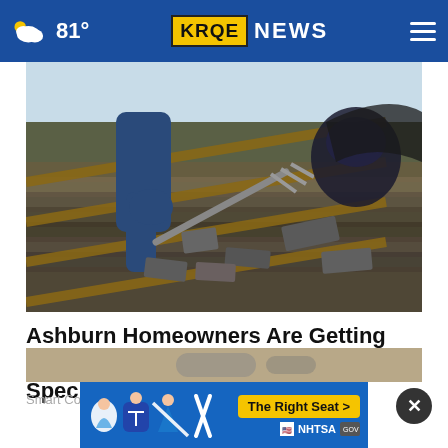81° KRQE NEWS
[Figure (photo): A person on a rooftop using a tool to remove old shingles; damaged and aging shingles visible across the roof surface.]
Ashburn Homeowners Are Getting Their Roof Replaced With This Special Program
Smart Consumer Update
[Figure (screenshot): Blue NHTSA advertisement banner showing car seat safety icons and a yellow 'The Right Seat >' button with NHTSA branding.]